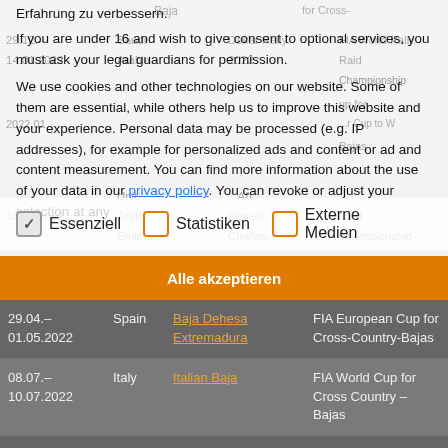Erfahrung zu verbessern.
If you are under 16 and wish to give consent to optional services, you must ask your legal guardians for permission.
We use cookies and other technologies on our website. Some of them are essential, while others help us to improve this website and your experience. Personal data may be processed (e.g. IP addresses), for example for personalized ads and content or ad and content measurement. You can find more information about the use of your data in our privacy policy. You can revoke or adjust your selection at any
Essenziell
Statistiken
Externe Medien
| Date | Country | Event | Championship |
| --- | --- | --- | --- |
| 29.04.–
01.05.2022 | Spain | Baja Dehesa Extremadura | FIA European Cup for Cross-Country-Bajas |
| 08.07.–
10.07.2022 | Italy | Italian Baja | FIA World Cup for Cross Country – Bajas |
| 21.07.– | Spain | Baja España... | FIA World Cup for |